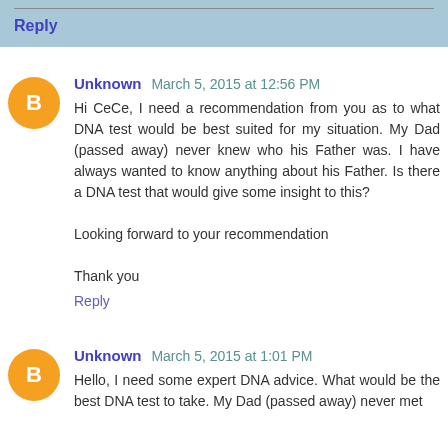results. Good luck!!!
Reply
Unknown March 5, 2015 at 12:56 PM
Hi CeCe, I need a recommendation from you as to what DNA test would be best suited for my situation. My Dad (passed away) never knew who his Father was. I have always wanted to know anything about his Father. Is there a DNA test that would give some insight to this?

Looking forward to your recommendation

Thank you
Reply
Unknown March 5, 2015 at 1:01 PM
Hello, I need some expert DNA advice. What would be the best DNA test to take. My Dad (passed away) never met